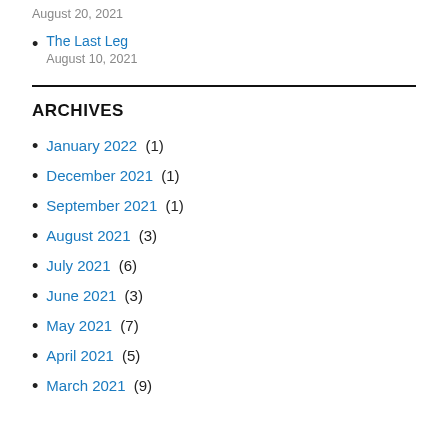August 20, 2021
The Last Leg
August 10, 2021
ARCHIVES
January 2022 (1)
December 2021 (1)
September 2021 (1)
August 2021 (3)
July 2021 (6)
June 2021 (3)
May 2021 (7)
April 2021 (5)
March 2021 (9)